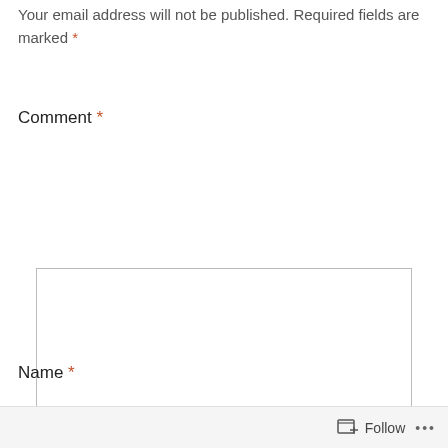Your email address will not be published. Required fields are marked *
Comment *
[Figure (other): Empty comment textarea input box with resize handle]
Name *
Follow ...